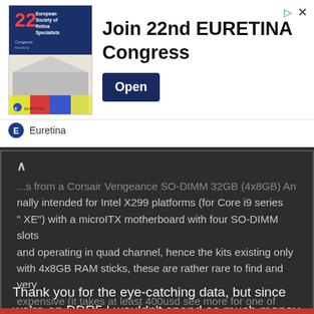[Figure (illustration): EURETINA 22nd Congress Hamburg advertisement banner with logo image showing building/concert hall and colorful graphic elements]
Join 22nd EURETINA Congress
Open
Euretina
...s from a Corsair Vengeance SO-DIMM 32GB (4x8GB) An nally intended for Intel X299 platforms (for Core i9 series " XE") with a microITX motherboard with four SO-DIMM slots and operating in quad channel, hence the kits existing only with 4x8GB RAM sticks, these are rather rare to find and very expensive (it takes at least 400usd see more for one of these
Click to expand...
Thank you for the eye-catching data, but since we're on DDR5 I wouldn't spend so much money on DDR4 memory if I didn't
This site uses cookies to help personalise content, tailor your experience and to keep you logged in if you register. By continuing to use this site, you are consenting to our use of cookies.
Accept
Learn more...